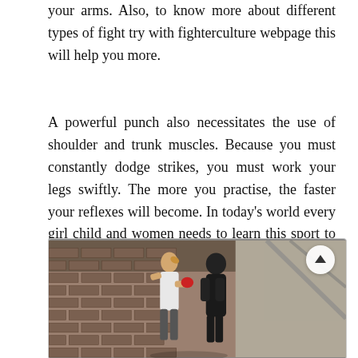your arms. Also, to know more about different types of fight try with fighterculture webpage this will help you more.
A powerful punch also necessitates the use of shoulder and trunk muscles. Because you must constantly dodge strikes, you must work your legs swiftly. The more you practise, the faster your reflexes will become. In today's world every girl child and women needs to learn this sport to defend themselves from others.
[Figure (photo): A woman with blonde hair and tattoos in gym attire is sparring or training with a boxing dummy/mannequin dressed in black, set against a brick wall background. There is a scroll-up button overlay in the top-right corner of the image.]